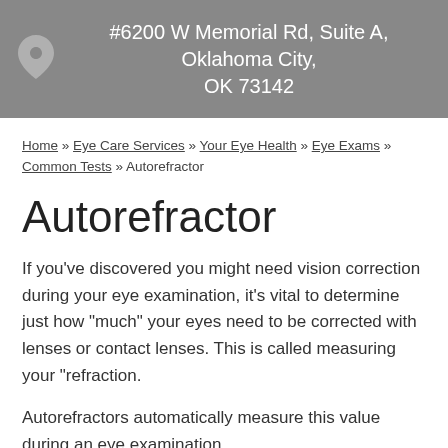#6200 W Memorial Rd, Suite A, Oklahoma City, OK 73142
Home » Eye Care Services » Your Eye Health » Eye Exams » Common Tests » Autorefractor
Autorefractor
If you've discovered you might need vision correction during your eye examination, it's vital to determine just how "much" your eyes need to be corrected with lenses or contact lenses. This is called measuring your "refraction.
Autorefractors automatically measure this value during an eye examination.
While autorefractors provide an initial estimate, they will